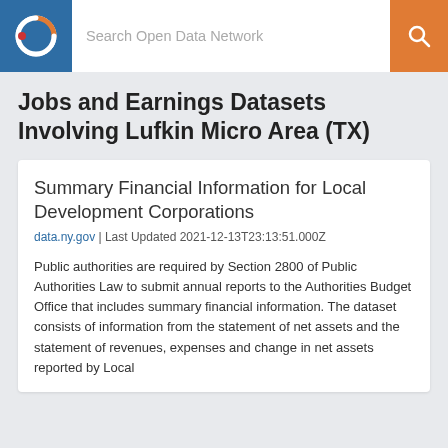Search Open Data Network
Jobs and Earnings Datasets Involving Lufkin Micro Area (TX)
Summary Financial Information for Local Development Corporations
data.ny.gov | Last Updated 2021-12-13T23:13:51.000Z
Public authorities are required by Section 2800 of Public Authorities Law to submit annual reports to the Authorities Budget Office that includes summary financial information. The dataset consists of information from the statement of net assets and the statement of revenues, expenses and change in net assets reported by Local